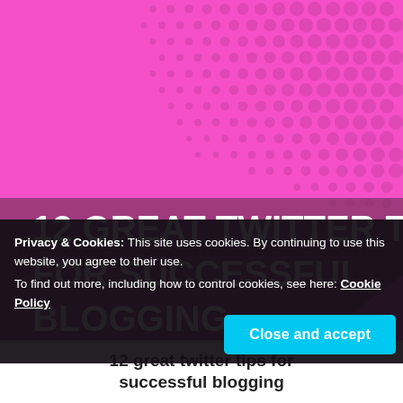[Figure (illustration): Pink cover image with halftone dot pattern on the right side, a dark magenta/purple diagonal shadow overlay in the lower left, and large white bold uppercase text reading '12 GREAT TWITTER TIPS FOR SUCCESSFUL BLOGGING']
12 GREAT TWITTER TIPS FOR SUCCESSFUL BLOGGING
Privacy & Cookies: This site uses cookies. By continuing to use this website, you agree to their use.
To find out more, including how to control cookies, see here: Cookie Policy
Close and accept
12 great twitter tips for successful blogging